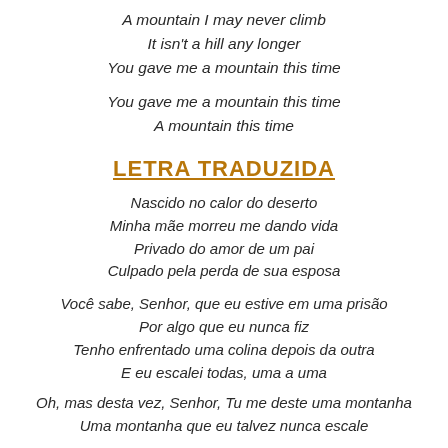A mountain I may never climb
It isn't a hill any longer
You gave me a mountain this time
You gave me a mountain this time
A mountain this time
LETRA TRADUZIDA
Nascido no calor do deserto
Minha mãe morreu me dando vida
Privado do amor de um pai
Culpado pela perda de sua esposa
Você sabe, Senhor, que eu estive em uma prisão
Por algo que eu nunca fiz
Tenho enfrentado uma colina depois da outra
E eu escalei todas, uma a uma
Oh, mas desta vez, Senhor, Tu me deste uma montanha
Uma montanha que eu talvez nunca escale